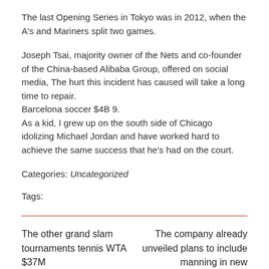The last Opening Series in Tokyo was in 2012, when the A's and Mariners split two games.
Joseph Tsai, majority owner of the Nets and co-founder of the China-based Alibaba Group, offered on social media, The hurt this incident has caused will take a long time to repair.
Barcelona soccer $4B 9.
As a kid, I grew up on the south side of Chicago idolizing Michael Jordan and have worked hard to achieve the same success that he's had on the court.
Categories: Uncategorized
Tags:
The other grand slam tournaments tennis WTA $37M
The company already unveiled plans to include manning in new